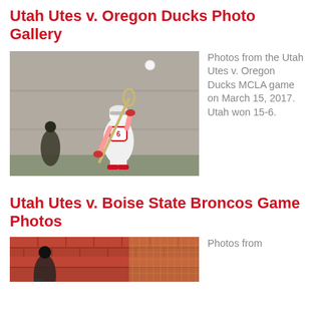Utah Utes v. Oregon Ducks Photo Gallery
[Figure (photo): A lacrosse player in white Utah uniform holding a stick, mid-action, with a ball in the air. Background is a concrete wall. Another player visible in background.]
Photos from the Utah Utes v. Oregon Ducks MCLA game on March 15, 2017. Utah won 15-6.
Utah Utes v. Boise State Broncos Game Photos
[Figure (photo): Partial photo showing a sports venue with brick walls and a goal net, players visible.]
Photos from